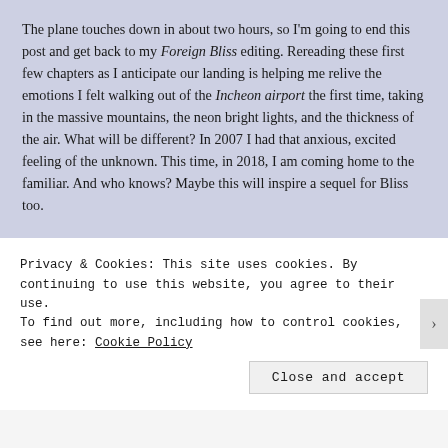The plane touches down in about two hours, so I'm going to end this post and get back to my Foreign Bliss editing. Rereading these first few chapters as I anticipate our landing is helping me relive the emotions I felt walking out of the Incheon airport the first time, taking in the massive mountains, the neon bright lights, and the thickness of the air. What will be different? In 2007 I had that anxious, excited feeling of the unknown. This time, in 2018, I am coming home to the familiar. And who knows? Maybe this will inspire a sequel for Bliss too.
*This blogpost is dedicated to my writing partner Kristi, for always
Privacy & Cookies: This site uses cookies. By continuing to use this website, you agree to their use.
To find out more, including how to control cookies, see here: Cookie Policy
Close and accept